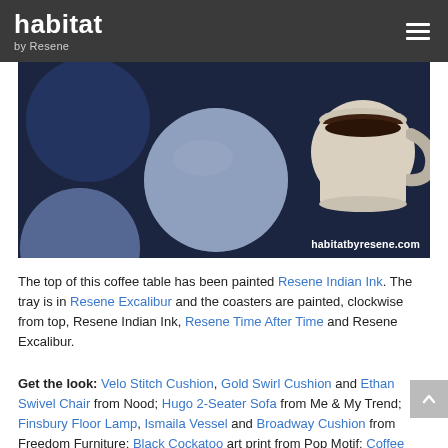habitat by Resene
[Figure (photo): Top-down photo of painted circular coasters and a white mug of coffee on a dark navy background. The coasters are in shades of dark blue, mid-blue, and light blue/grey. Website watermark reads habitatbyresene.com]
The top of this coffee table has been painted Resene Indian Ink. The tray is in Resene Excalibur and the coasters are painted, clockwise from top, Resene Indian Ink, Resene Time After Time and Resene Excalibur.
Get the look: Velo Stitch Cushion, Gold Swirl Cushion and Ethan Swivel Chair from Nood; Hugo 2-Seater Sofa from Me & My Trend; Finsbury Floor Lamp, Ismaila Vessel and Broadway Cushion from Freedom Furniture; Black Cockatoo art print from Pop Motif; Coffee table and side table (painted Resene Indian Ink) from K-Mart.